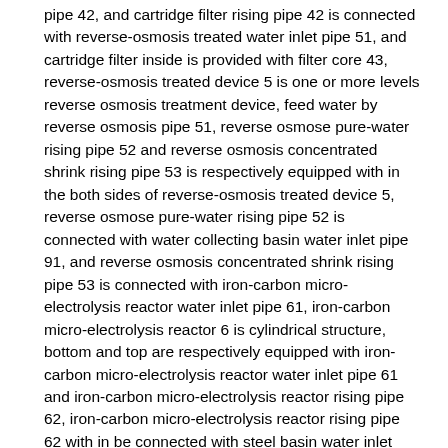pipe 42, and cartridge filter rising pipe 42 is connected with reverse-osmosis treated water inlet pipe 51, and cartridge filter inside is provided with filter core 43, reverse-osmosis treated device 5 is one or more levels reverse osmosis treatment device, feed water by reverse osmosis pipe 51, reverse osmose pure-water rising pipe 52 and reverse osmosis concentrated shrink rising pipe 53 is respectively equipped with in the both sides of reverse-osmosis treated device 5, reverse osmose pure-water rising pipe 52 is connected with water collecting basin water inlet pipe 91, and reverse osmosis concentrated shrink rising pipe 53 is connected with iron-carbon micro-electrolysis reactor water inlet pipe 61, iron-carbon micro-electrolysis reactor 6 is cylindrical structure, bottom and top are respectively equipped with iron-carbon micro-electrolysis reactor water inlet pipe 61 and iron-carbon micro-electrolysis reactor rising pipe 62, iron-carbon micro-electrolysis reactor rising pipe 62 with in be connected with steel basin water inlet pipe 71, be provided with Fe-C filler 63 in iron-carbon micro-electrolysis reactor 6 inside, in and the sidewall upper and lower of steel basin 7 be respectively equipped with in and steel basin water inlet pipe 71 and in and steel basin rising pipe 72, in be connected with heavy pond water inlet pipe